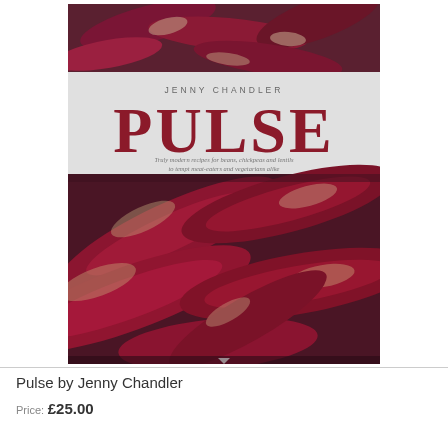[Figure (photo): Book cover of 'Pulse' by Jenny Chandler. The cover shows crimson/purple bean pods. The top portion has a close-up photo of red-purple beans. The middle section has a light grey background with the author name 'JENNY CHANDLER' in small caps, the large title 'PULSE' in deep red serif font, and the subtitle 'Truly modern recipes for beans, chickpeas and lentils to tempt meat-eaters and vegetarians alike' in italic. The bottom portion shows another close-up photo of the same crimson and white mottled bean pods.]
Pulse by Jenny Chandler
Price: £25.00